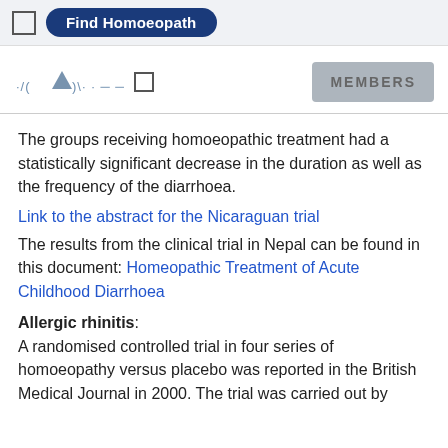Find Homoeopath
[Figure (logo): Website logo/navigation bar with logo graphic, square icon, and MEMBERS button]
The groups receiving homoeopathic treatment had a statistically significant decrease in the duration as well as the frequency of the diarrhoea.
Link to the abstract for the Nicaraguan trial
The results from the clinical trial in Nepal can be found in this document: Homeopathic Treatment of Acute Childhood Diarrhoea
Allergic rhinitis:
A randomised controlled trial in four series of homoeopathy versus placebo was reported in the British Medical Journal in 2000. The trial was carried out by